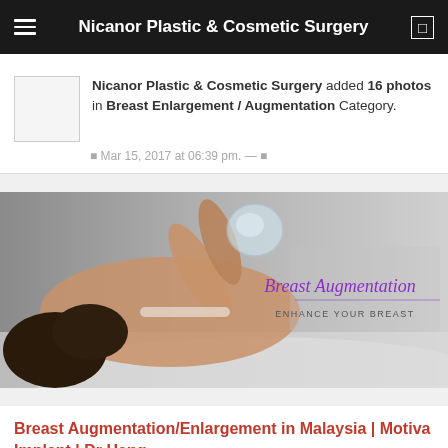Nicanor Plastic & Cosmetic Surgery
Nicanor Plastic & Cosmetic Surgery added 16 photos in Breast Enlargement / Augmentation Category.
Mar 15, 2017 at 06:39 pm. —
[Figure (photo): Woman lying down holding a breast implant, with text 'Breast Augmentation' in cursive and 'ENHANCE YOUR BREAST' below it]
Breast Augmentation/Enlargement in Malaysia | Motiva Implant | Dr Heng